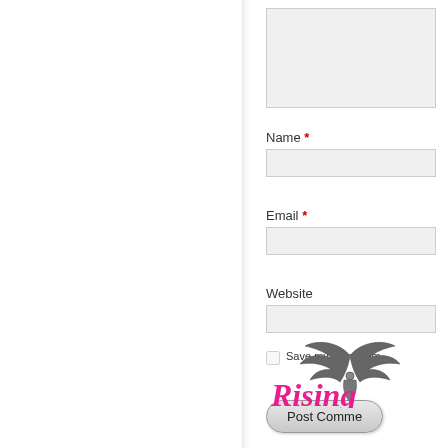[Figure (illustration): Decorative repeating floral/geometric tile pattern in light lavender/purple on white background, filling left two-thirds of the page]
Name *
Email *
Website
Save my name, em
Post Comme
[Figure (logo): Rising Angel blog logo with wings graphic above stylized pink italic text reading 'Rising']